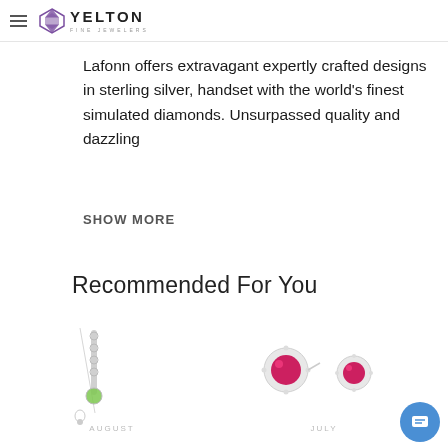YELTON FINE JEWELERS
Lafonn offers extravagant expertly crafted designs in sterling silver, handset with the world's finest simulated diamonds. Unsurpassed quality and dazzling
SHOW MORE
Recommended For You
[Figure (photo): Peridot/green stone pendant necklace with dangling diamond-set bar, labeled AUGUST]
[Figure (photo): Round ruby halo stud earrings with diamond surround, labeled JULY]